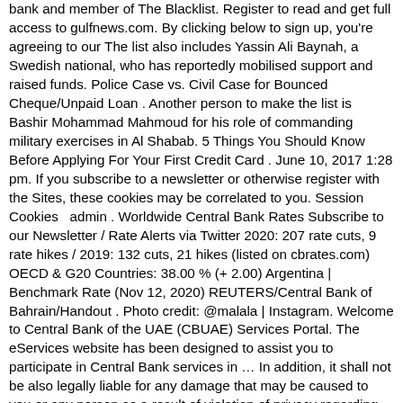bank and member of The Blacklist. Register to read and get full access to gulfnews.com. By clicking below to sign up, you're agreeing to our The list also includes Yassin Ali Baynah, a Swedish national, who has reportedly mobilised support and raised funds. Police Case vs. Civil Case for Bounced Cheque/Unpaid Loan . Another person to make the list is Bashir Mohammad Mahmoud for his role of commanding military exercises in Al Shabab. 5 Things You Should Know Before Applying For Your First Credit Card . June 10, 2017 1:28 pm. If you subscribe to a newsletter or otherwise register with the Sites, these cookies may be correlated to you. Session Cookies  admin . Worldwide Central Bank Rates Subscribe to our Newsletter / Rate Alerts via Twitter 2020: 207 rate cuts, 9 rate hikes / 2019: 132 cuts, 21 hikes (listed on cbrates.com) OECD & G20 Countries: 38.00 % (+ 2.00) Argentina | Benchmark Rate (Nov 12, 2020) REUTERS/Central Bank of Bahrain/Handout . Photo credit: @malala | Instagram. Welcome to Central Bank of the UAE (CBUAE) Services Portal. The eServices website has been designed to assist you to participate in Central Bank services in … In addition, it shall not be also legally liable for any damage that may be caused to you or any person as a result of violation of privacy regarding … ON EXPATWOMAN TODAY. Unless you have adjusted your browser setting so that it will refuse cookies, our system will check if cookies